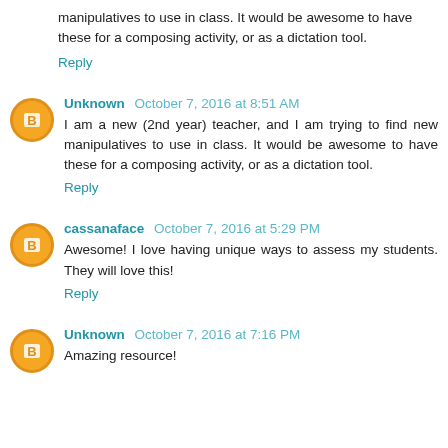manipulatives to use in class. It would be awesome to have these for a composing activity, or as a dictation tool.
Reply
Unknown October 7, 2016 at 8:51 AM
I am a new (2nd year) teacher, and I am trying to find new manipulatives to use in class. It would be awesome to have these for a composing activity, or as a dictation tool.
Reply
cassanaface October 7, 2016 at 5:29 PM
Awesome! I love having unique ways to assess my students. They will love this!
Reply
Unknown October 7, 2016 at 7:16 PM
Amazing resource!